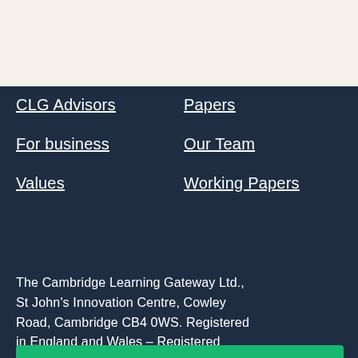[Figure (logo): Cambridge Learning Gateway logo — teal/green square grid icon with graduation figure, plus light grey text to the right]
[Figure (other): Hamburger menu icon — three horizontal dark lines on light background]
CLG Advisors
Papers
For business
Our Team
Values
Working Papers
The Cambridge Learning Gateway Ltd., St John's Innovation Centre, Cowley Road, Cambridge CB4 0WS. Registered in England and Wales – Registered Number 12891230.
Subscribe our newsletter
Full Name *
Email* *